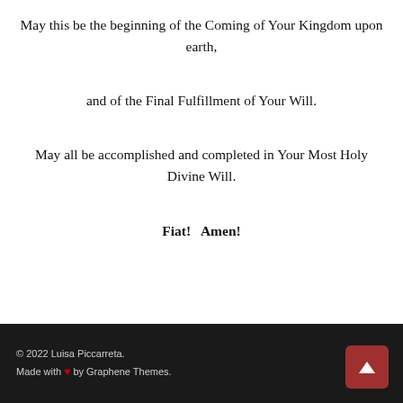May this be the beginning of the Coming of Your Kingdom upon earth,
and of the Final Fulfillment of Your Will.
May all be accomplished and completed in Your Most Holy Divine Will.
Fiat!   Amen!
© 2022 Luisa Piccarreta. Made with ♥ by Graphene Themes.